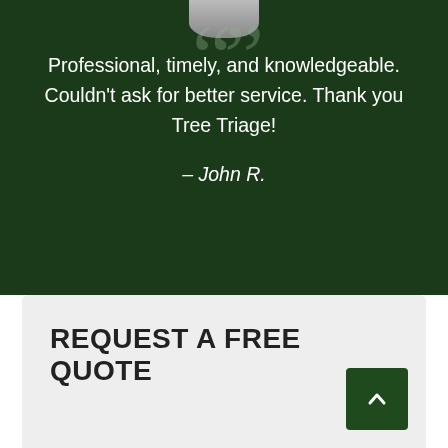Professional, timely, and knowledgeable. Couldn't ask for better service. Thank you Tree Triage!
– John R.
REQUEST A FREE QUOTE